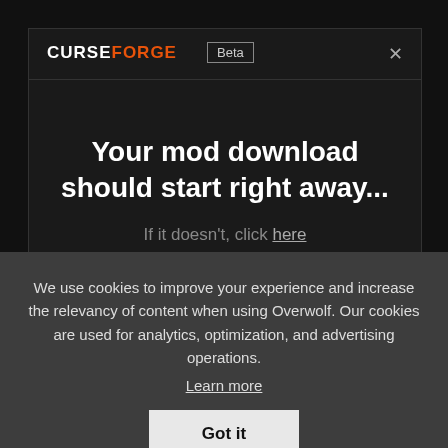CURSEFORGE Beta
Your mod download should start right away...
If it doesn't, click here
Manage your mods and addons with
We use cookies to improve your experience and increase the relevancy of content when using Overwolf. Our cookies are used for analytics, optimization, and advertising operations.
Learn more
Got it